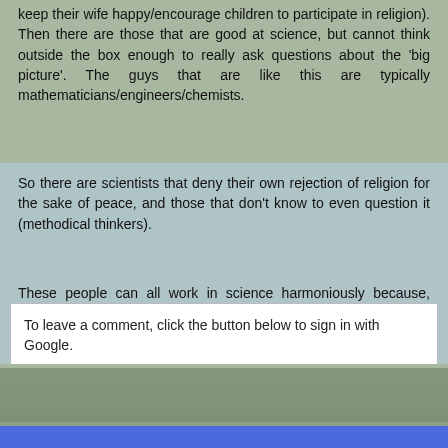keep their wife happy/encourage children to participate in religion). Then there are those that are good at science, but cannot think outside the box enough to really ask questions about the 'big picture'. The guys that are like this are typically mathematicians/engineers/chemists.
So there are scientists that deny their own rejection of religion for the sake of peace, and those that don't know to even question it (methodical thinkers).
These people can all work in science harmoniously because, again, pure science has no agenda. It is merely the FACTS.
Reply
To leave a comment, click the button below to sign in with Google.
SIGN IN WITH GOOGLE